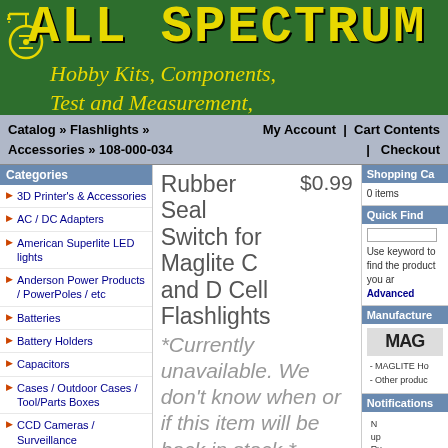[Figure (logo): All Spectrum Electronics logo on dark green background with yellow LED-style text and circuit symbol icon]
Catalog » Flashlights » Accessories » 108-000-034   My Account | Cart Contents | Checkout
Categories
3D Printer's & Accessories
AC / DC Adapters
American Superlite LED lights
Anderson Power Products / PowerPoles / etc
Batteries
Battery Holders
Capacitors
Cases / Outdoor Cases / Tool/Parts Boxes
CCD Cameras / Surveillance
Computer Accesories
Connectors / Adapters / Cables
Rubber Seal Switch for Maglite C and D Cell Flashlights  $0.99
*Currently unavailable. We don't know when or if this item will be back in stock.*
Model # 108-000-034
Shopping Cart
0 items
Quick Find
Use keyword to find the product you are looking for.
Advanced Search
Manufacturers
MAGLITE Home
Other products